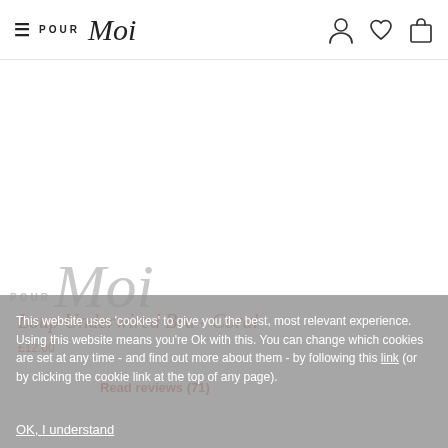Pour Moi - navigation header with hamburger menu, logo, user/wishlist/cart icons
[Figure (logo): Pour Moi watermark logo in light gray, partially visible behind cookie overlay]
Loup Underwired Bra - Coral
£12.00
Read reviews (71)
This website uses 'cookies' to give you the best, most relevant experience. Using this website means you're Ok with this. You can change which cookies are set at any time - and find out more about them - by following this link (or by clicking the cookie link at the top of any page).
OK, I understand